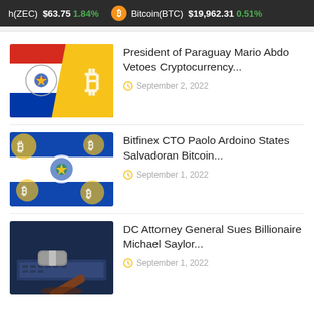h(ZEC) $63.75 1.84%   Bitcoin(BTC) $19,962.31 0.51%
[Figure (photo): Paraguay flag and Bitcoin logo on cards]
President of Paraguay Mario Abdo Vetoes Cryptocurrency...
September 2, 2022
[Figure (photo): El Salvador flag with Bitcoin coins overlay]
Bitfinex CTO Paolo Ardoino States Salvadoran Bitcoin...
September 1, 2022
[Figure (photo): Judge gavel on laptop keyboard, blue toned]
DC Attorney General Sues Billionaire Michael Saylor...
September 1, 2022